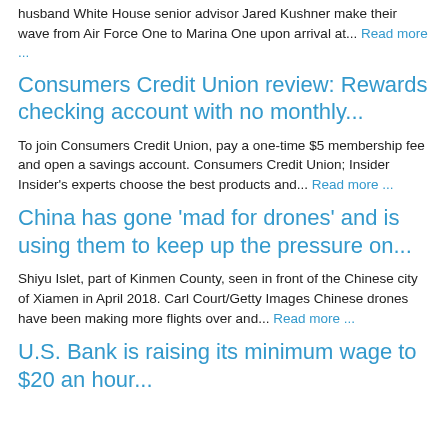husband White House senior advisor Jared Kushner make their wave from Air Force One to Marina One upon arrival at... Read more ...
Consumers Credit Union review: Rewards checking account with no monthly...
To join Consumers Credit Union, pay a one-time $5 membership fee and open a savings account. Consumers Credit Union; Insider Insider's experts choose the best products and... Read more ...
China has gone 'mad for drones' and is using them to keep up the pressure on...
Shiyu Islet, part of Kinmen County, seen in front of the Chinese city of Xiamen in April 2018. Carl Court/Getty Images Chinese drones have been making more flights over and... Read more ...
U.S. Bank is raising its minimum wage to $20 an hour...